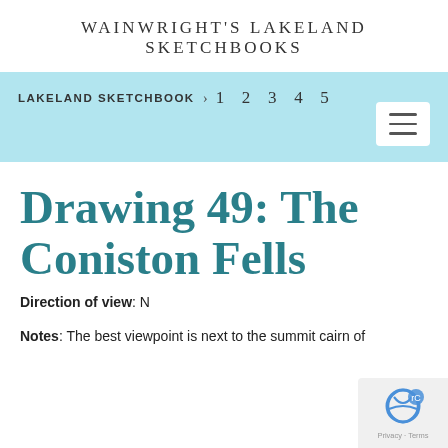WAINWRIGHT'S LAKELAND SKETCHBOOKS
LAKELAND SKETCHBOOK  >  1  2  3  4  5
Drawing 49: The Coniston Fells
Direction of view: N
Notes: The best viewpoint is next to the summit cairn of